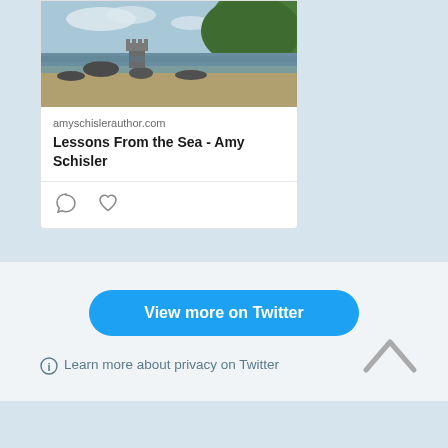[Figure (photo): Coastal scene with rocky shoreline, ocean waves, a small castle or tower structure on rocks, green hillside in background under partly cloudy sky]
amyschislerauthor.com
Lessons From the Sea - Amy Schisler
[Figure (other): Comment icon (speech bubble outline) and heart/like icon]
View more on Twitter
Learn more about privacy on Twitter